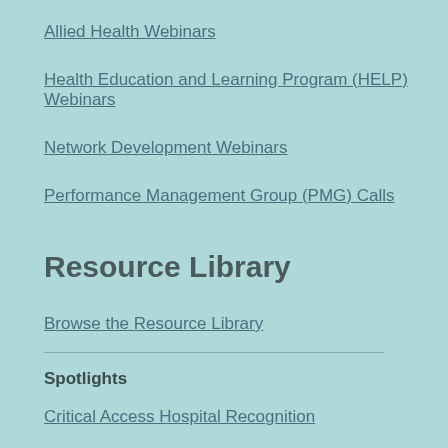Allied Health Webinars
Health Education and Learning Program (HELP) Webinars
Network Development Webinars
Performance Management Group (PMG) Calls
Resource Library
Browse the Resource Library
Spotlights
Critical Access Hospital Recognition
Hospital Spotlights